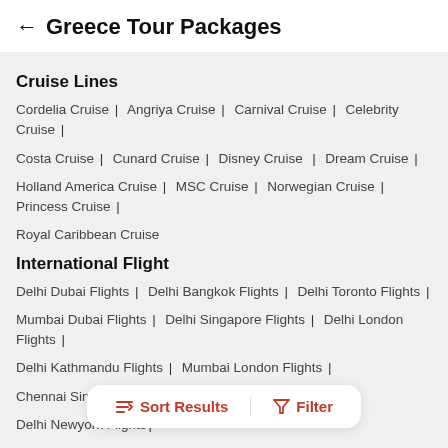← Greece Tour Packages
Cruise Lines
Cordelia Cruise | Angriya Cruise | Carnival Cruise | Celebrity Cruise |
Costa Cruise | Cunard Cruise | Disney Cruise | Dream Cruise |
Holland America Cruise | MSC Cruise | Norwegian Cruise | Princess Cruise |
Royal Caribbean Cruise
International Flight
Delhi Dubai Flights | Delhi Bangkok Flights | Delhi Toronto Flights |
Mumbai Dubai Flights | Delhi Singapore Flights | Delhi London Flights |
Delhi Kathmandu Flights | Mumbai London Flights |
Chennai Singapore Flights | Mumbai Singapore Flights |
Delhi Newyork Flights |
Sort Results  Filter